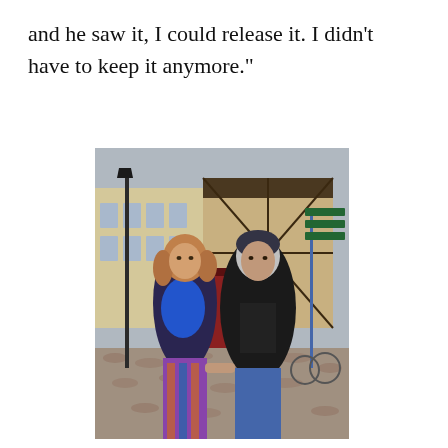and he saw it, I could release it. I didn't have to keep it anymore."
[Figure (photo): A man and a woman standing together on a cobblestone street in what appears to be a European town. The woman has curly auburn hair and wears a blue scarf over a dark top with patterned trousers. The man wears a black leather jacket over a dark t-shirt and jeans. In the background are historic-looking buildings including a half-timbered structure, street signs, a lamppost, and bicycles.]